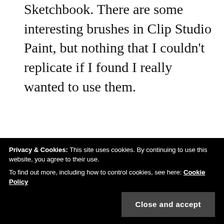Sketchbook. There are some interesting brushes in Clip Studio Paint, but nothing that I couldn't replicate if I found I really wanted to use them.
Anyway, I will persevere with Clip Studio, working with it from time to time to become more familiar with it. The ability to draw vectors may be helpful in the future, but then I have Affinity Designer on my 'puter, which is
I convert files to CMYK for printing, the colours
Privacy & Cookies: This site uses cookies. By continuing to use this website, you agree to their use.
To find out more, including how to control cookies, see here: Cookie Policy